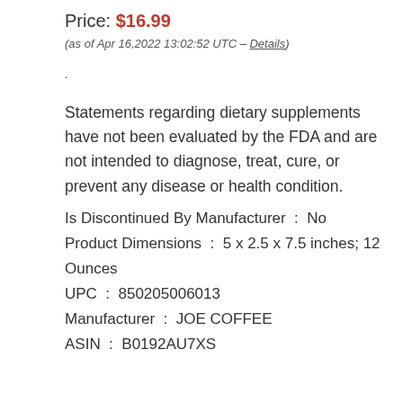Price: $16.99
(as of Apr 16,2022 13:02:52 UTC – Details)
Statements regarding dietary supplements have not been evaluated by the FDA and are not intended to diagnose, treat, cure, or prevent any disease or health condition.
Is Discontinued By Manufacturer : No
Product Dimensions : 5 x 2.5 x 7.5 inches; 12 Ounces
UPC : 850205006013
Manufacturer : JOE COFFEE
ASIN : B0192AU7XS